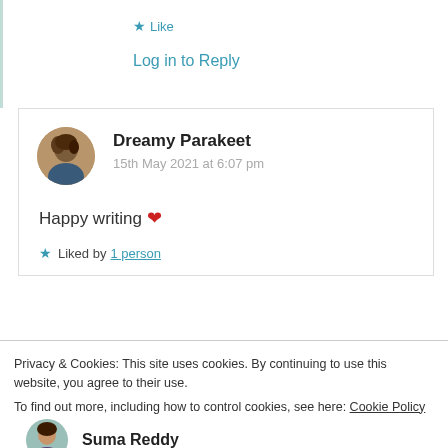★ Like
Log in to Reply
Dreamy Parakeet
15th May 2021 at 6:07 pm
Happy writing ❤
★ Liked by 1 person
Privacy & Cookies: This site uses cookies. By continuing to use this website, you agree to their use. To find out more, including how to control cookies, see here: Cookie Policy
Close and accept
Suma Reddy